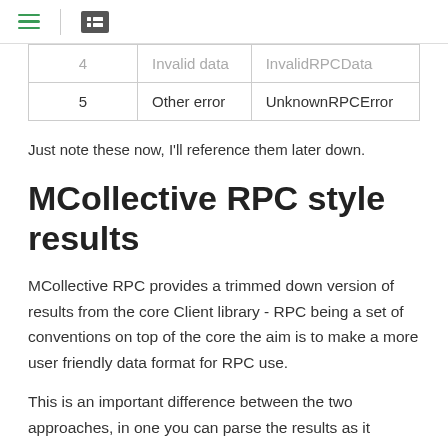|  |  |  |
| --- | --- | --- |
| 4 | Invalid data | InvalidRPCData |
| 5 | Other error | UnknownRPCError |
Just note these now, I'll reference them later down.
MCollective RPC style results
MCollective RPC provides a trimmed down version of results from the core Client library - RPC being a set of conventions on top of the core the aim is to make a more user friendly data format for RPC use.
This is an important difference between the two approaches, in one you can parse the results as it